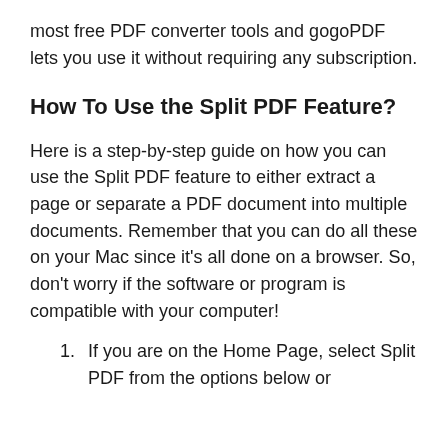most free PDF converter tools and gogoPDF lets you use it without requiring any subscription.
How To Use the Split PDF Feature?
Here is a step-by-step guide on how you can use the Split PDF feature to either extract a page or separate a PDF document into multiple documents. Remember that you can do all these on your Mac since it’s all done on a browser. So, don’t worry if the software or program is compatible with your computer!
If you are on the Home Page, select Split PDF from the options below or